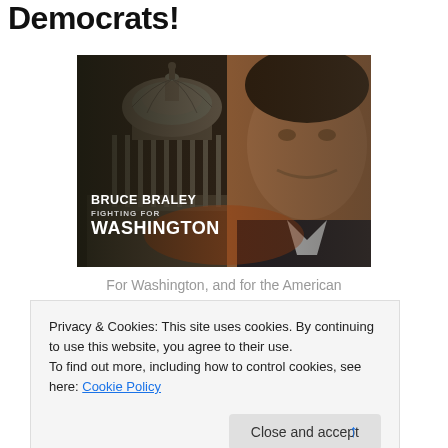Democrats!
[Figure (photo): Campaign image for Bruce Braley showing the US Capitol dome on the left and a smiling man in a suit on the right, with text overlay reading 'BRUCE BRALEY FIGHTING FOR WASHINGTON']
For Washington, and for the American
Privacy & Cookies: This site uses cookies. By continuing to use this website, you agree to their use.
To find out more, including how to control cookies, see here: Cookie Policy
Close and accept